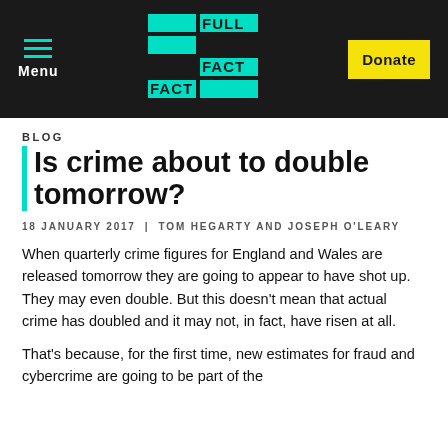Menu | FULL FACT | Donate
BLOG
Is crime about to double tomorrow?
18 JANUARY 2017 | TOM HEGARTY AND JOSEPH O'LEARY
When quarterly crime figures for England and Wales are released tomorrow they are going to appear to have shot up. They may even double. But this doesn't mean that actual crime has doubled and it may not, in fact, have risen at all.
That's because, for the first time, new estimates for fraud and cybercrime are going to be part of the